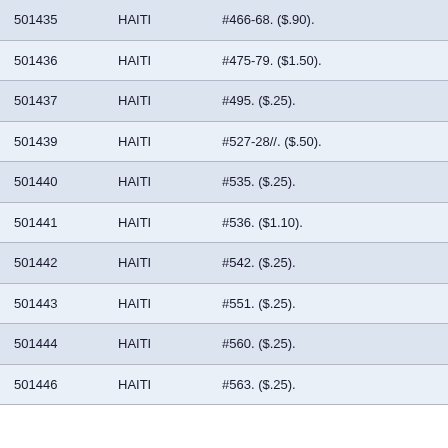| 501435 | HAITI | #466-68. ($.90). |
| 501436 | HAITI | #475-79. ($1.50). |
| 501437 | HAITI | #495. ($.25). |
| 501439 | HAITI | #527-28//. ($.50). |
| 501440 | HAITI | #535. ($.25). |
| 501441 | HAITI | #536. ($1.10). |
| 501442 | HAITI | #542. ($.25). |
| 501443 | HAITI | #551. ($.25). |
| 501444 | HAITI | #560. ($.25). |
| 501446 | HAITI | #563. ($.25). |